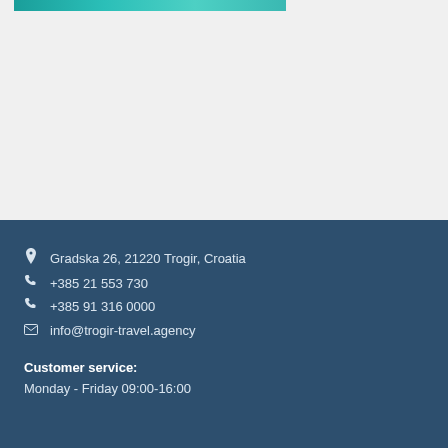[Figure (photo): Teal/turquoise decorative bar at top of page, partial image of what appears to be water or a travel destination]
📍 Gradska 26, 21220 Trogir, Croatia
📞 +385 21 553 730
📞 +385 91 316 0000
✉ info@trogir-travel.agency
Customer service:
Monday - Friday 09:00-16:00